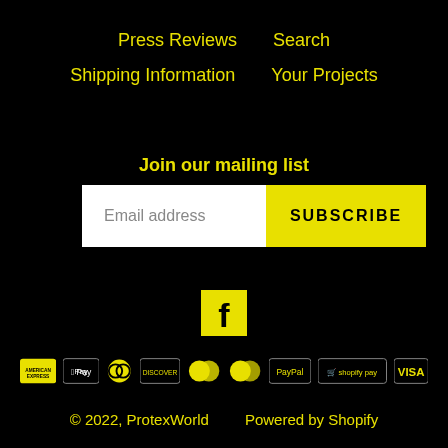Press Reviews
Search
Shipping Information
Your Projects
Join our mailing list
Email address  SUBSCRIBE
[Figure (logo): Facebook icon in yellow square]
[Figure (logo): Payment method icons: American Express, Apple Pay, Diners Club, Discover, Maestro, Mastercard, PayPal, Shopify Pay, Visa]
© 2022, ProtexWorld    Powered by Shopify